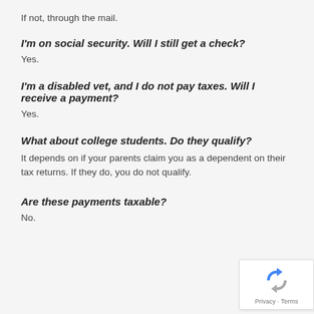If not, through the mail.
I'm on social security.  Will I still get a check?
Yes.
I'm a disabled vet, and I do not pay taxes.  Will I receive a payment?
Yes.
What about college students.  Do they qualify?
It depends on if your parents claim you as a dependent on their tax returns.  If they do, you do not qualify.
Are these payments taxable?
No.